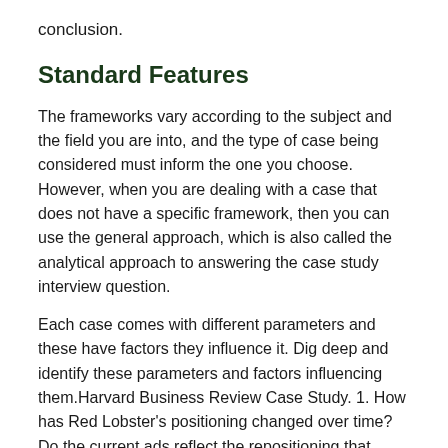conclusion.
Standard Features
The frameworks vary according to the subject and the field you are into, and the type of case being considered must inform the one you choose. However, when you are dealing with a case that does not have a specific framework, then you can use the general approach, which is also called the analytical approach to answering the case study interview question.
Each case comes with different parameters and these have factors they influence it. Dig deep and identify these parameters and factors influencing them.Harvard Business Review Case Study. 1. How has Red Lobster's positioning changed over time? Do the current ads reflect the repositioning that Lopdrup and his .